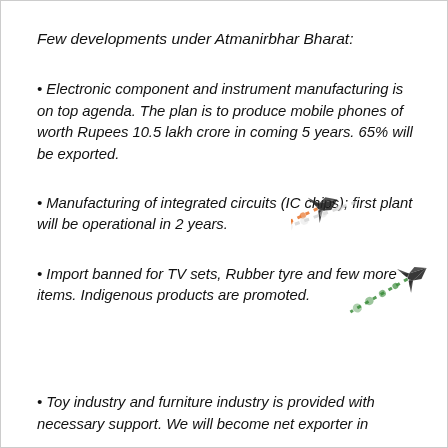Few developments under Atmanirbhar Bharat:
• Electronic component and instrument manufacturing is on top agenda. The plan is to produce mobile phones of worth Rupees 10.5 lakh crore in coming 5 years. 65% will be exported.
• Manufacturing of integrated circuits (IC chips); first plant will be operational in 2 years.
• Import banned for TV sets, Rubber tyre and few more items. Indigenous products are promoted.
[Figure (illustration): Two fighter jets (Tejas-style) with smoke trails in the Indian tricolor (orange, white, green) performing an aerial display]
• Toy industry and furniture industry is provided with necessary support. We will become net exporter in